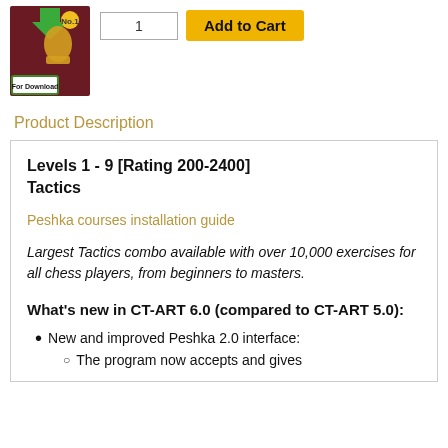[Figure (illustration): Chess software product image with green download arrow, chess pieces on dark background, and 'For Download' badge]
1
Add to Cart
Product Description
Levels 1 - 9 [Rating 200-2400]
Tactics
Peshka courses installation guide
Largest Tactics combo available with over 10,000 exercises for all chess players, from beginners to masters.
What's new in CT-ART 6.0 (compared to CT-ART 5.0):
New and improved Peshka 2.0 interface:
The program now accepts and gives